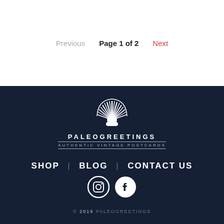Previous   Page 1 of 2   Next
[Figure (logo): Paleogreetings shell logo with brand name PALEOGREETINGS and tagline AUTHENTIC VINTAGE POSTCARDS]
SHOP | BLOG | CONTACT US
[Figure (illustration): Instagram and Facebook social media icons]
© 2019 PALEOGREETINGS